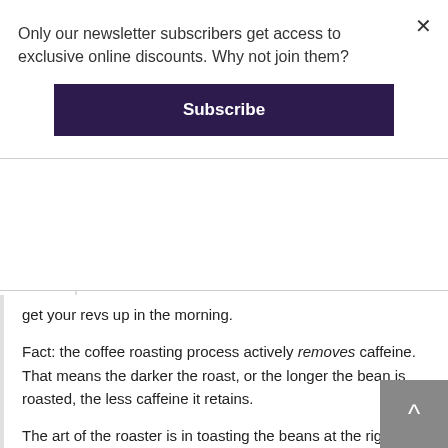Only our newsletter subscribers get access to exclusive online discounts. Why not join them?
Subscribe
get your revs up in the morning.
Fact: the coffee roasting process actively removes caffeine. That means the darker the roast, or the longer the bean is roasted, the less caffeine it retains.
The art of the roaster is in toasting the beans at the right level, for the right amount of time, to balance out their natural acidity, sweetness and bitterness, while also retaining the coffee’s natural flavours. No small feat.
The lighter the roast, the more of the bean’s original flavours are retained. This sometimes